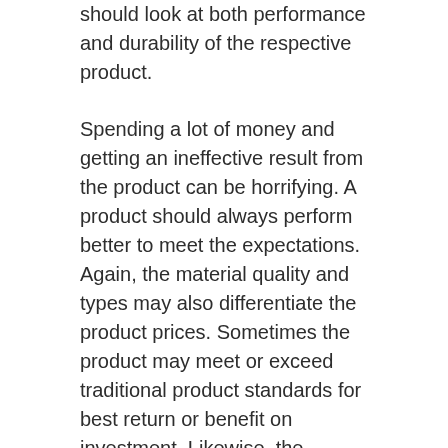should look at both performance and durability of the respective product.
Spending a lot of money and getting an ineffective result from the product can be horrifying. A product should always perform better to meet the expectations. Again, the material quality and types may also differentiate the product prices. Sometimes the product may meet or exceed traditional product standards for best return or benefit on investment. Likewise, the shorter lifespan than expectation also can be a loss of investment.
Irrespective of user reviews, you can find many ways to know your desired milk chocolate truffles's performance and durability. You should try to